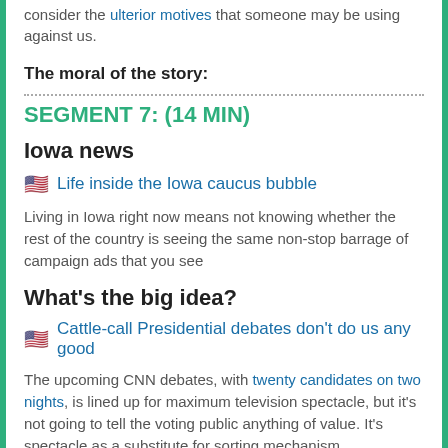consider the ulterior motives that someone may be using against us.
The moral of the story:
SEGMENT 7: (14 MIN)
Iowa news
🇺🇸 Life inside the Iowa caucus bubble
Living in Iowa right now means not knowing whether the rest of the country is seeing the same non-stop barrage of campaign ads that you see
What's the big idea?
🇺🇸 Cattle-call Presidential debates don't do us any good
The upcoming CNN debates, with twenty candidates on two nights, is lined up for maximum television spectacle, but it's not going to tell the voting public anything of value. It's spectacle as a substitute for sorting mechanism. Presidential debates should be replaced with timed